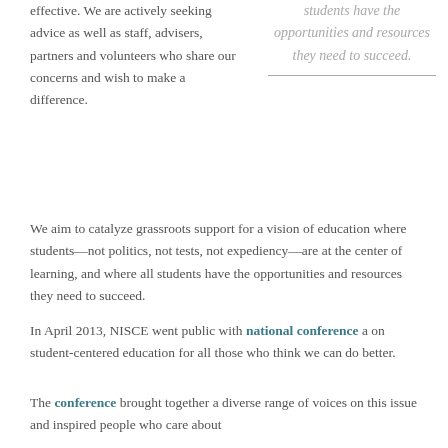effective. We are actively seeking advice as well as staff, advisers, partners and volunteers who share our concerns and wish to make a difference.
students have the opportunities and resources they need to succeed.
We aim to catalyze grassroots support for a vision of education where students—not politics, not tests, not expediency—are at the center of learning, and where all students have the opportunities and resources they need to succeed.
In April 2013, NISCE went public with national conference a on student-centered education for all those who think we can do better.
The conference brought together a diverse range of voices on this issue and inspired people who care about...